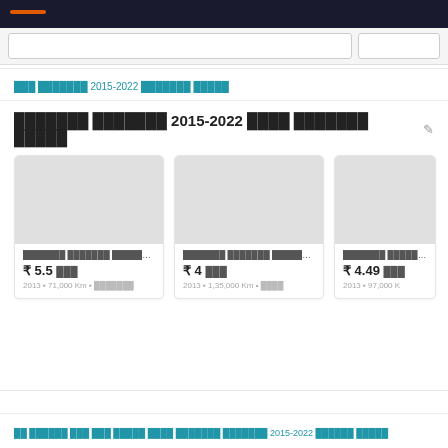[Hindi text] 2015-2022 [Hindi text]
[Hindi text] 2015-2022 [Hindi text] [Hindi text] ✏
[Figure (photo): Car listing card 1 - grey placeholder image]
[Hindi text] [Hindi text] [Hindi text] ...
₹ 5.5 [Hindi]
2013 • 71,000 Km • [Hindi text]
[Figure (photo): Car listing card 2 - grey placeholder image]
[Hindi text] [Hindi text] [Hindi text]
₹ 4 [Hindi]
2013 • 1,35,000 Km • [Hindi text]
[Figure (photo): Car listing card 3 - grey placeholder image (partially visible)]
[Hindi text] [Hindi text]
₹ 4.49 [Hindi]
2013 • 97,000 K...
[Hindi text] [Hindi text] [Hindi text] [Hindi text] [Hindi text] 2015-2022 [Hindi text] [Hindi text]